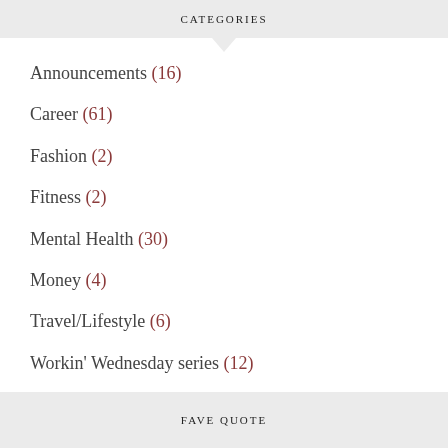CATEGORIES
Announcements (16)
Career (61)
Fashion (2)
Fitness (2)
Mental Health (30)
Money (4)
Travel/Lifestyle (6)
Workin' Wednesday series (12)
FAVE QUOTE